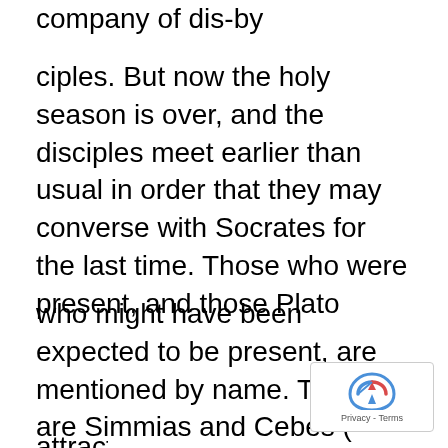company of dis-by
ciples. But now the holy season is over, and the disciples meet earlier than usual in order that they may converse with Socrates for the last time. Those who were present, and those Plato
who might have been expected to be present, are mentioned by name. There are Simmias and Cebes ( Crito), two disciples of Philolaus whom Socrates 'by his enchantments has Translated by Benjamin Jowett
attracted from Thebes' ( Men.). Crito